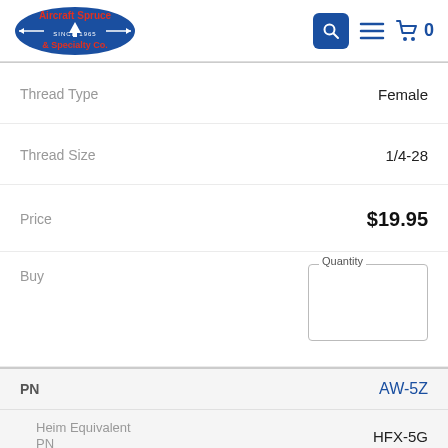Aircraft Spruce & Specialty Co. — Search, Menu, Cart (0)
| Field | Value |
| --- | --- |
| Thread Type | Female |
| Thread Size | 1/4-28 |
| Price | $19.95 |
| Buy | Quantity |
| Field | Value |
| --- | --- |
| PN | AW-5Z |
| Heim Equivalent PN | HFX-5G |
Subscribe to our weekly newsletter
New product announcements, promotions, discounts, & events.
Email Address